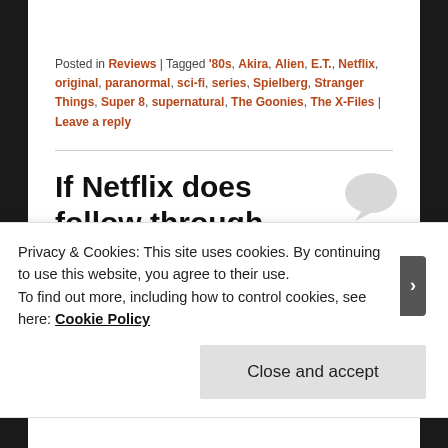Posted in Reviews | Tagged '80s, Akira, Alien, E.T., Netflix, original, paranormal, sci-fi, series, Spielberg, Stranger Things, Super 8, supernatural, The Goonies, The X-Files | Leave a reply
If Netflix does follow through with a Zelda series, here's what I'd like to see
Privacy & Cookies: This site uses cookies. By continuing to use this website, you agree to their use. To find out more, including how to control cookies, see here: Cookie Policy